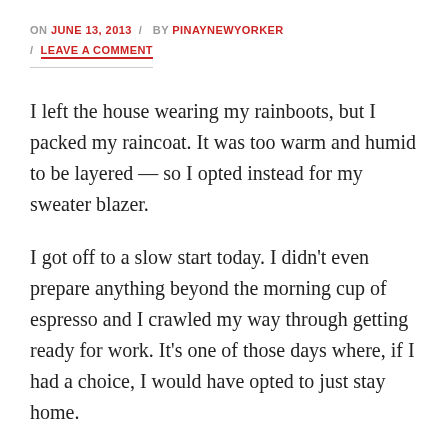ON JUNE 13, 2013 / BY PINAYNEWYORKER / LEAVE A COMMENT
I left the house wearing my rainboots, but I packed my raincoat. It was too warm and humid to be layered — so I opted instead for my sweater blazer.
I got off to a slow start today. I didn't even prepare anything beyond the morning cup of espresso and I crawled my way through getting ready for work. It's one of those days where, if I had a choice, I would have opted to just stay home.
But there is work.. And it's almost Saturday. (Trying to stay positive about this..). I tell myself that no matter